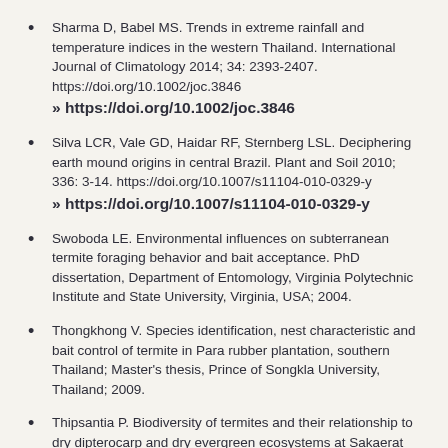Sharma D, Babel MS. Trends in extreme rainfall and temperature indices in the western Thailand. International Journal of Climatology 2014; 34: 2393-2407. https://doi.org/10.1002/joc.3846 » https://doi.org/10.1002/joc.3846
Silva LCR, Vale GD, Haidar RF, Sternberg LSL. Deciphering earth mound origins in central Brazil. Plant and Soil 2010; 336: 3-14. https://doi.org/10.1007/s11104-010-0329-y » https://doi.org/10.1007/s11104-010-0329-y
Swoboda LE. Environmental influences on subterranean termite foraging behavior and bait acceptance. PhD dissertation, Department of Entomology, Virginia Polytechnic Institute and State University, Virginia, USA; 2004.
Thongkhong V. Species identification, nest characteristic and bait control of termite in Para rubber plantation, southern Thailand; Master's thesis, Prince of Songkla University, Thailand; 2009.
Thipsantia P. Biodiversity of termites and their relationship to dry dipterocarp and dry evergreen ecosystems at Sakaerat environmental research station. Nakhon...